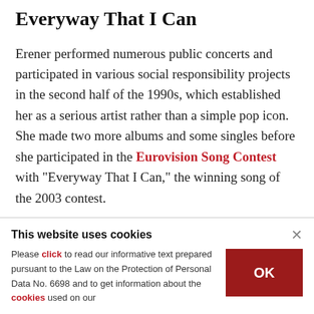Everyway That I Can
Erener performed numerous public concerts and participated in various social responsibility projects in the second half of the 1990s, which established her as a serious artist rather than a simple pop icon. She made two more albums and some singles before she participated in the Eurovision Song Contest with “Everyway That I Can,” the winning song of the 2003 contest.
This website uses cookies
Please click to read our informative text prepared pursuant to the Law on the Protection of Personal Data No. 6698 and to get information about the cookies used on our